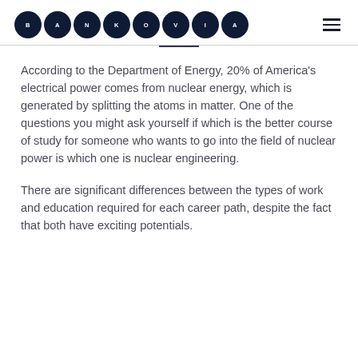[Figure (logo): Bankovia logo consisting of 8 dark navy circular badges each containing a white letter spelling out B-A-N-K-O-V-I-A]
According to the Department of Energy, 20% of America's electrical power comes from nuclear energy, which is generated by splitting the atoms in matter. One of the questions you might ask yourself if which is the better course of study for someone who wants to go into the field of nuclear power is which one is nuclear engineering.
There are significant differences between the types of work and education required for each career path, despite the fact that both have exciting potentials.